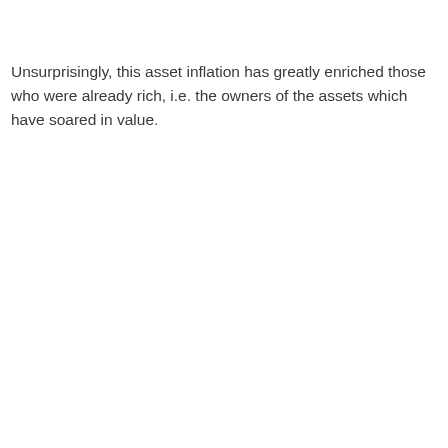Unsurprisingly, this asset inflation has greatly enriched those who were already rich, i.e. the owners of the assets which have soared in value.